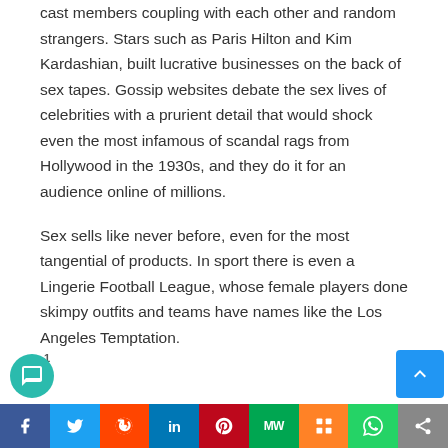cast members coupling with each other and random strangers. Stars such as Paris Hilton and Kim Kardashian, built lucrative businesses on the back of sex tapes. Gossip websites debate the sex lives of celebrities with a prurient detail that would shock even the most infamous of scandal rags from Hollywood in the 1930s, and they do it for an audience online of millions.
Sex sells like never before, even for the most tangential of products. In sport there is even a Lingerie Football League, whose female players done skimpy outfits and teams have names like the Los Angeles Temptation.